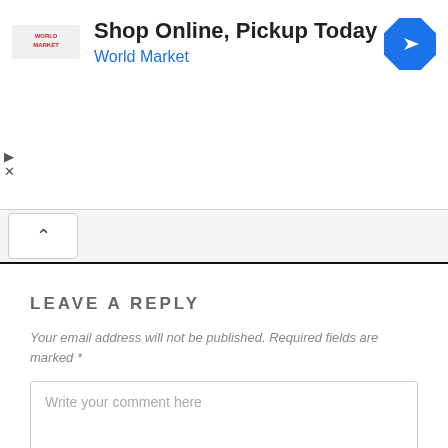[Figure (other): Advertisement banner: World Market logo on left, text 'Shop Online, Pickup Today' in bold and 'World Market' in blue, navigation arrow icon on right. Play and close controls on left side.]
LEAVE A REPLY
Your email address will not be published. Required fields are marked *
Write your comment here
Name*
Email*
Website